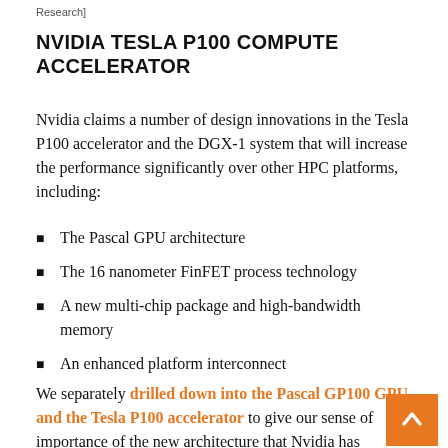Research]
NVIDIA TESLA P100 COMPUTE ACCELERATOR
Nvidia claims a number of design innovations in the Tesla P100 accelerator and the DGX-1 system that will increase the performance significantly over other HPC platforms, including:
The Pascal GPU architecture
The 16 nanometer FinFET process technology
A new multi-chip package and high-bandwidth memory
An enhanced platform interconnect
We separately drilled down into the Pascal GP100 GPU and the Tesla P100 accelerator to give our sense of importance of the new architecture that Nvidia has